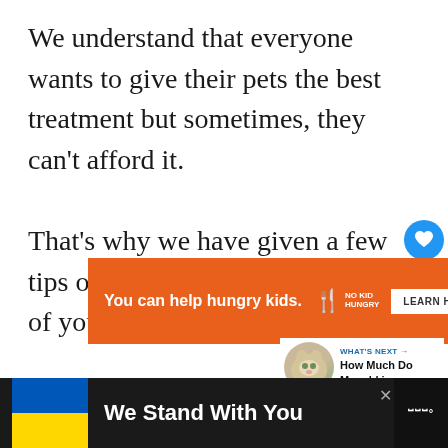We understand that everyone wants to give their pets the best treatment but sometimes, they can't afford it.

That's why we have given a few tips on how to reduce the cost of your dog's stitches.
[Figure (other): Orange No Kid Hungry advertisement banner: 'You can help hungry kids. No Kid Hungry. LEARN HOW']
[Figure (other): Social sharing UI: heart/like button with count 4, share button]
[Figure (other): What's Next panel: cat photo, 'WHAT'S NEXT → How Much Do Munchkin...']
[Figure (other): Bottom banner: Ukraine flag colors with text 'We Stand With You' on dark background with CNN logo]